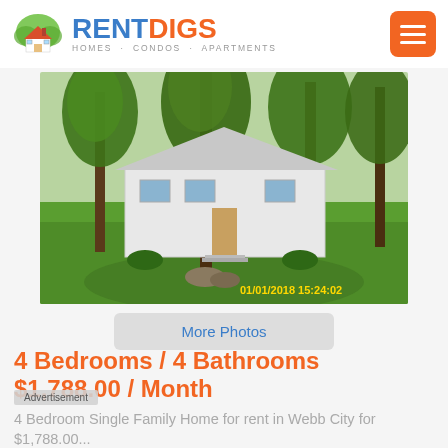RENTDIGS HOMES · CONDOS · APARTMENTS
[Figure (photo): Exterior photo of a white single-family home surrounded by large trees on a green lawn. Timestamp in yellow: 01/01/2018 15:24:02]
More Photos
4 Bedrooms / 4 Bathrooms
$1,788.00 / Month
Advertisement
4 Bedroom Single Family Home for rent in Webb City for $1,788.00...
4 Bedroo